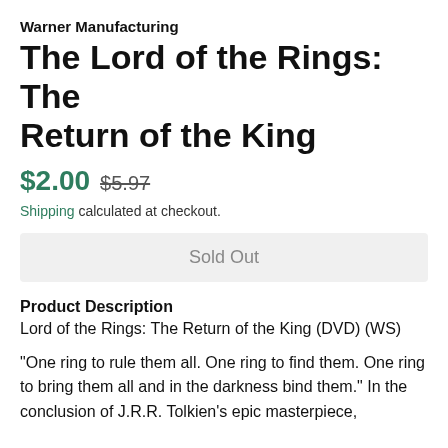Warner Manufacturing
The Lord of the Rings: The Return of the King
$2.00  $5.97
Shipping calculated at checkout.
Sold Out
Product Description
Lord of the Rings: The Return of the King (DVD) (WS)
"One ring to rule them all. One ring to find them. One ring to bring them all and in the darkness bind them." In the conclusion of J.R.R. Tolkien's epic masterpiece,